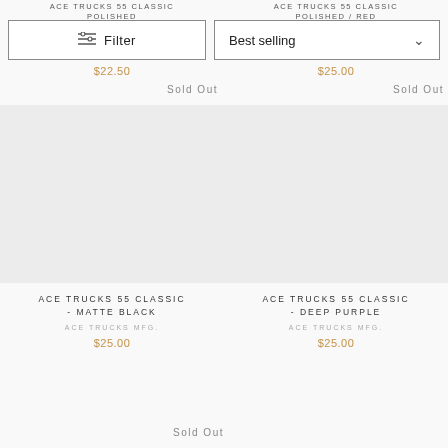ACE TRUCKS 55 CLASSIC POLISHED
ACE TRUCKS 55 CLASSIC POLISHED / RED
Filter
Best selling
$22.50
$25.00
Sold Out
Sold Out
[Figure (other): Product image placeholder for ACE TRUCKS 55 CLASSIC - MATTE BLACK]
[Figure (other): Product image placeholder for ACE TRUCKS 55 CLASSIC - DEEP PURPLE]
ACE TRUCKS 55 CLASSIC - MATTE BLACK
ACE TRUCKS MFG.
$25.00
ACE TRUCKS 55 CLASSIC - DEEP PURPLE
ACE TRUCKS MFG.
$25.00
Sold Out